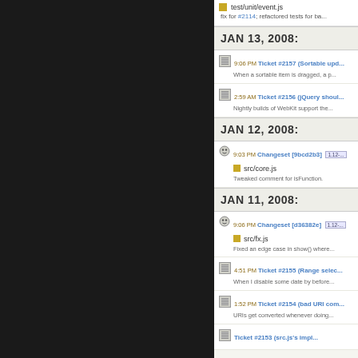[Figure (screenshot): Dark left panel of a web UI]
test/unit/event.js
fix for #2114; refactored tests for ba...
JAN 13, 2008:
9:06 PM Ticket #2157 (Sortable upd... When a sortable item is dragged, a p...
2:59 AM Ticket #2156 (jQuery shoul... Nightly builds of WebKit support the...
JAN 12, 2008:
9:03 PM Changeset [9bcd2b3] 1.12-... src/core.js Tweaked comment for isFunction.
JAN 11, 2008:
9:06 PM Changeset [d36382e] 1.12-... src/fx.js Fixed an edge case in show() where...
4:51 PM Ticket #2155 (Range selec... When I disable some date by before...
1:52 PM Ticket #2154 (bad URI com... URIs get converted whenever doing...
Ticket #2153 (src.js's impl...